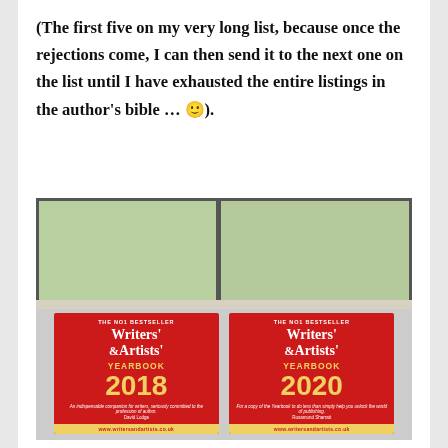(The first five on my very long list, because once the rejections come, I can then send it to the next one on the list until I have exhausted the entire listings in the author's bible … 🙂).
[Figure (photo): Photo of two red-covered Writers' & Artists' Yearbook editions (2018 and 2020) propped up on a windowsill with an outdoor scene visible through the window above them.]